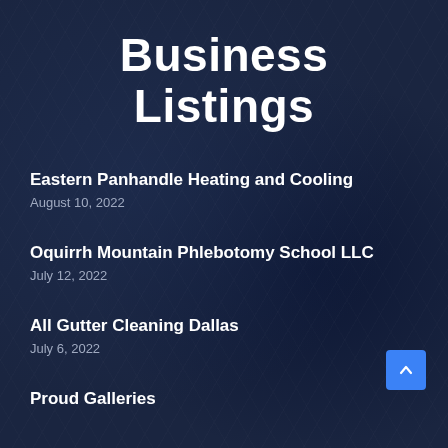Business Listings
Eastern Panhandle Heating and Cooling
August 10, 2022
Oquirrh Mountain Phlebotomy School LLC
July 12, 2022
All Gutter Cleaning Dallas
July 6, 2022
Proud Galleries